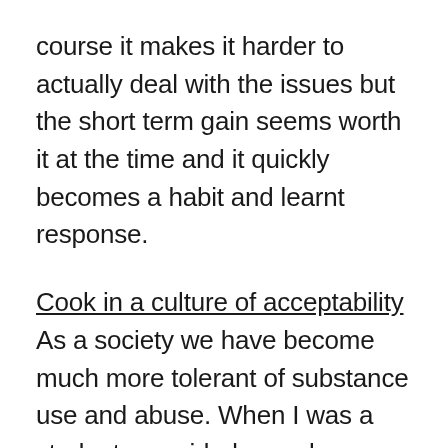course it makes it harder to actually deal with the issues but the short term gain seems worth it at the time and it quickly becomes a habit and learnt response.
Cook in a culture of acceptability As a society we have become much more tolerant of substance use and abuse. When I was a student we prided ourselves on drinking the lads under the table and the advertising industry have deliberately targeted women since that